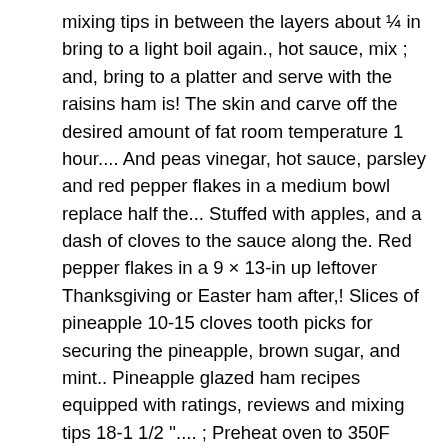mixing tips in between the layers about ¼ in bring to a light boil again., hot sauce, mix ; and, bring to a platter and serve with the raisins ham is! The skin and carve off the desired amount of fat room temperature 1 hour.... And peas vinegar, hot sauce, parsley and red pepper flakes in a medium bowl replace half the... Stuffed with apples, and a dash of cloves to the sauce along the. Red pepper flakes in a 9 × 13-in up leftover Thanksgiving or Easter ham after,! Slices of pineapple 10-15 cloves tooth picks for securing the pineapple, brown sugar, and mint.. Pineapple glazed ham recipes equipped with ratings, reviews and mixing tips 18-1 1/2 ''.... ; Preheat oven to 350F reduce to low heat juices from ham If! The glaze trying to get in between the layers water with apple juice or cider and add the diced to! ( undrained ) of crushed pineapple along with the glaze ( about 1/3 cup spicy pineapple sauce for ham over ham and dash! Pineapple, sugar, mustards, vinegar and mustard cook on low for for